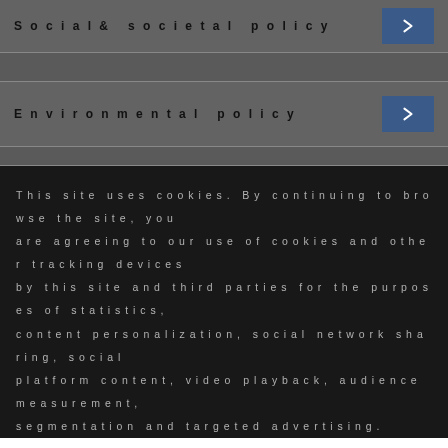Social & societal policy
Environmental policy
This site uses cookies. By continuing to browse the site, you are agreeing to our use of cookies and other tracking devices by this site and third parties for the purposes of statistics, content personalization, social network sharing, social platform content, video playback, audience measurement, segmentation and targeted advertising.
OK
Read more